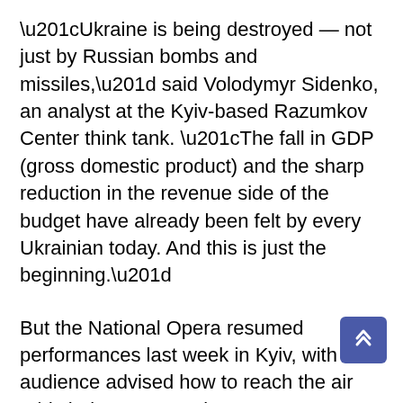“Ukraine is being destroyed — not just by Russian bombs and missiles,” said Volodymyr Sidenko, an analyst at the Kyiv-based Razumkov Center think tank. “The fall in GDP (gross domestic product) and the sharp reduction in the revenue side of the budget have already been felt by every Ukrainian today. And this is just the beginning.”
But the National Opera resumed performances last week in Kyiv, with the audience advised how to reach the air raid shelter. No Russian operas are on the program.
And some restaurants, cafes and shops